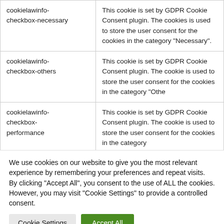| Cookie | Description |
| --- | --- |
| cookielawinfo-checkbox-necessary | This cookie is set by GDPR Cookie Consent plugin. The cookies is used to store the user consent for the cookies in the category "Necessary". |
| cookielawinfo-checkbox-others | This cookie is set by GDPR Cookie Consent plugin. The cookie is used to store the user consent for the cookies in the category "Othe |
| cookielawinfo-checkbox-performance | This cookie is set by GDPR Cookie Consent plugin. The cookie is used to store the user consent for the cookies in the category |
We use cookies on our website to give you the most relevant experience by remembering your preferences and repeat visits. By clicking "Accept All", you consent to the use of ALL the cookies. However, you may visit "Cookie Settings" to provide a controlled consent.